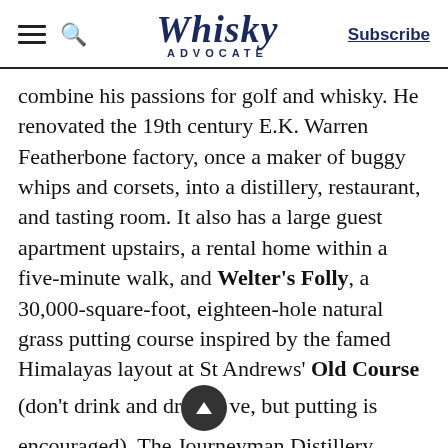Whisky Advocate — Subscribe
combine his passions for golf and whisky. He renovated the 19th century E.K. Warren Featherbone factory, once a maker of buggy whips and corsets, into a distillery, restaurant, and tasting room. It also has a large guest apartment upstairs, a rental home within a five-minute walk, and Welter's Folly, a 30,000-square-foot, eighteen-hole natural grass putting course inspired by the famed Himalayas layout at St Andrews' Old Course (don't drink and drive, but putting is encouraged). The Journeyman Distillery prominently features